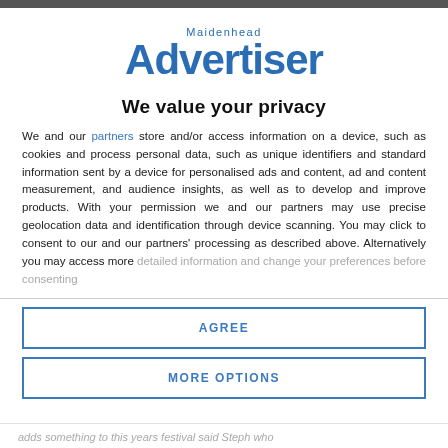[Figure (logo): Maidenhead Advertiser logo in blue text]
We value your privacy
We and our partners store and/or access information on a device, such as cookies and process personal data, such as unique identifiers and standard information sent by a device for personalised ads and content, ad and content measurement, and audience insights, as well as to develop and improve products. With your permission we and our partners may use precise geolocation data and identification through device scanning. You may click to consent to our and our partners' processing as described above. Alternatively you may access more detailed information and change your preferences before consenting
AGREE
MORE OPTIONS
adds something to this years festival said Steph who